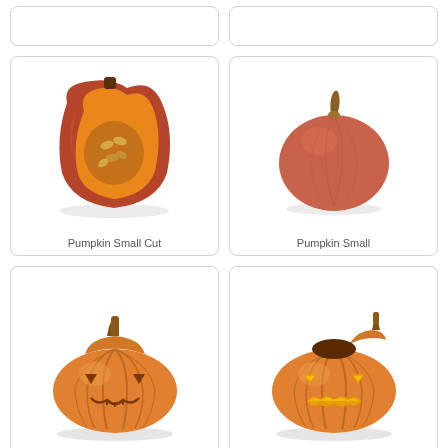[Figure (photo): Partial top of a card visible at top-left — pumpkin small cut image cropped]
[Figure (photo): Partial top of a card visible at top-right — pumpkin small image cropped]
[Figure (photo): Card showing a cross-section of a small red/orange pumpkin cut in half, revealing orange flesh and seeds]
Pumpkin Small Cut
[Figure (photo): Card showing a whole small reddish-pink round pumpkin with a small stem]
Pumpkin Small
[Figure (photo): Card showing an orange Halloween jack-o-lantern pumpkin with carved but not yet lit face, lid on top]
[Figure (photo): Card showing an orange Halloween jack-o-lantern pumpkin with carved glowing face, lid off to the side]